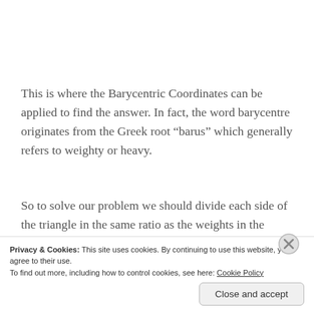This is where the Barycentric Coordinates can be applied to find the answer. In fact, the word barycentre originates from the Greek root “barus” which generally refers to weighty or heavy.
So to solve our problem we should divide each side of the triangle in the same ratio as the weights in the vertex forming that side, as shown below.
Privacy & Cookies: This site uses cookies. By continuing to use this website, you agree to their use.
To find out more, including how to control cookies, see here: Cookie Policy